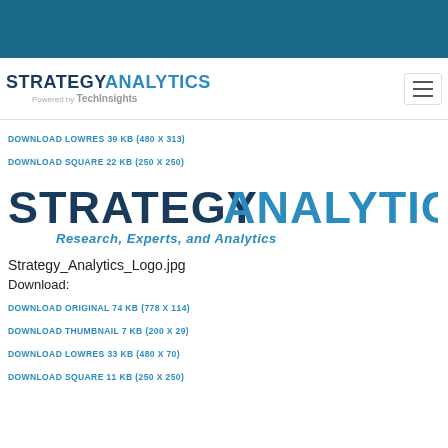[Figure (logo): Teal/blue top navigation bar background]
[Figure (logo): Strategy Analytics logo with 'Powered by TechInsights' subtitle and hamburger menu icon]
DOWNLOAD LOWRES 39 KB (480 X 313)
DOWNLOAD SQUARE 22 KB (250 X 250)
[Figure (logo): Strategy Analytics logo large — bold dark blue STRATEGY and light blue ANALYTICS with tagline 'Research, Experts, and Analytics']
Strategy_Analytics_Logo.jpg
Download:
DOWNLOAD ORIGINAL 74 KB (778 X 114)
DOWNLOAD THUMBNAIL 7 KB (200 X 29)
DOWNLOAD LOWRES 33 KB (480 X 70)
DOWNLOAD SQUARE 11 KB (250 X 250)